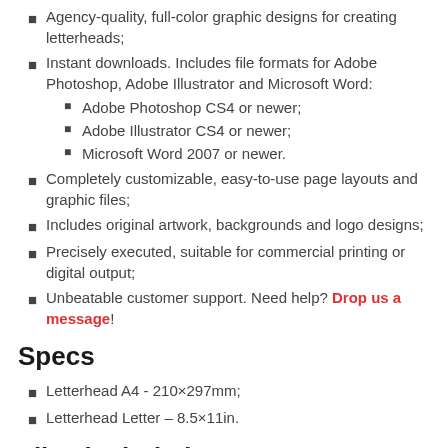Agency-quality, full-color graphic designs for creating letterheads;
Instant downloads. Includes file formats for Adobe Photoshop, Adobe Illustrator and Microsoft Word:
Adobe Photoshop CS4 or newer;
Adobe Illustrator CS4 or newer;
Microsoft Word 2007 or newer.
Completely customizable, easy-to-use page layouts and graphic files;
Includes original artwork, backgrounds and logo designs;
Precisely executed, suitable for commercial printing or digital output;
Unbeatable customer support. Need help? Drop us a message!
Specs
Letterhead A4 - 210×297mm;
Letterhead Letter – 8.5×11in.
Files included